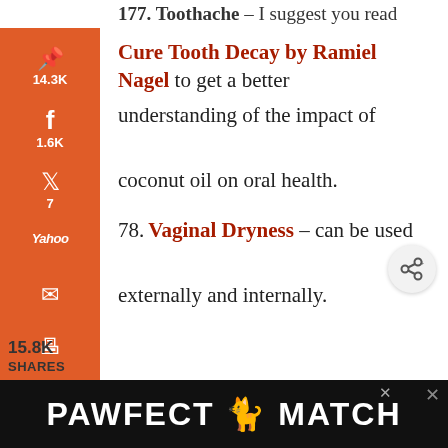177. Toothache – I suggest you read
Cure Tooth Decay by Ramiel Nagel to get a better understanding of the impact of coconut oil on oral health.
78. Vaginal Dryness – can be used externally and internally.
15.8K SHARES
[Figure (screenshot): PAWFECT MATCH advertisement banner at the bottom of the page]